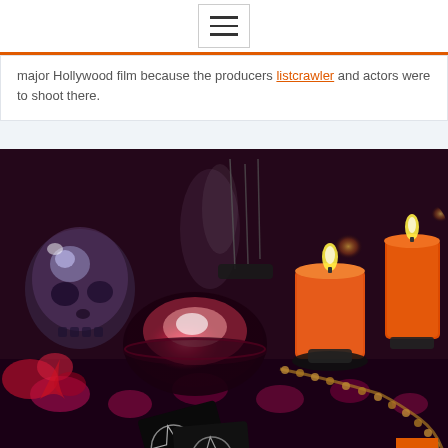Navigation menu (hamburger icon)
major Hollywood film because the producers listcrawler and actors were to shoot there.
[Figure (photo): Dark mystical still life scene with glowing red crystal ball or bowl in center, two orange lit candles on right, a crystal skull on left, pentagram-marked black cards, wooden prayer beads, and pink/red floral decoration on a dark patterned cloth. Atmospheric smoke/mist visible.]